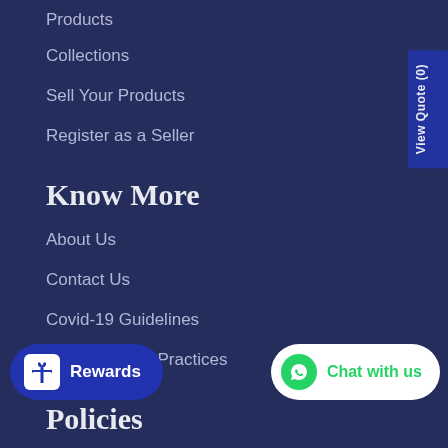Products
Collections
Sell Your Products
Register as a Seller
Know More
About Us
Contact Us
Covid-19 Guidelines
Covid-19 Best Practices
Policies
R... icy
Shipping Policy
View Quote (0)
Rewards
Chat with us